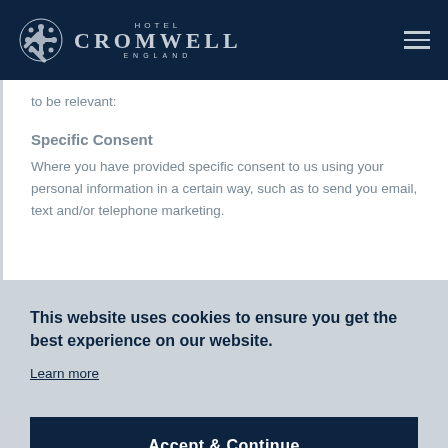HOTEL CROMWELL ENGLAND
to be relevant:
Specific Consent
Where you have provided specific consent to us using your personal information in a certain way, such as to send you email, text and/or telephone marketing.
This website uses cookies to ensure you get the best experience on our website.
Learn more
Accept & Continue
Where necessary so that we can comply with a